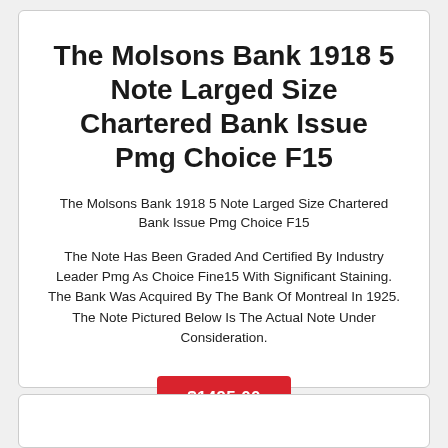The Molsons Bank 1918 5 Note Larged Size Chartered Bank Issue Pmg Choice F15
The Molsons Bank 1918 5 Note Larged Size Chartered Bank Issue Pmg Choice F15
The Note Has Been Graded And Certified By Industry Leader Pmg As Choice Fine15 With Significant Staining. The Bank Was Acquired By The Bank Of Montreal In 1925. The Note Pictured Below Is The Actual Note Under Consideration.
$1495.00